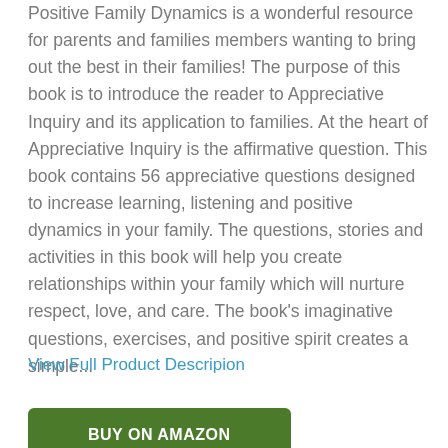Positive Family Dynamics is a wonderful resource for parents and families members wanting to bring out the best in their families! The purpose of this book is to introduce the reader to Appreciative Inquiry and its application to families. At the heart of Appreciative Inquiry is the affirmative question. This book contains 56 appreciative questions designed to increase learning, listening and positive dynamics in your family. The questions, stories and activities in this book will help you create relationships within your family which will nurture respect, love, and care. The book's imaginative questions, exercises, and positive spirit creates a simple...
View Full Product Descripion
BUY ON AMAZON